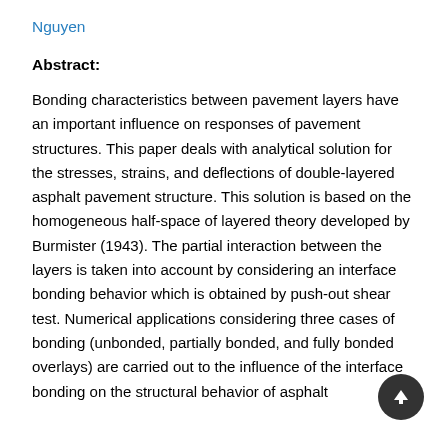Nguyen
Abstract:
Bonding characteristics between pavement layers have an important influence on responses of pavement structures. This paper deals with analytical solution for the stresses, strains, and deflections of double-layered asphalt pavement structure. This solution is based on the homogeneous half-space of layered theory developed by Burmister (1943). The partial interaction between the layers is taken into account by considering an interface bonding behavior which is obtained by push-out shear test. Numerical applications considering three cases of bonding (unbonded, partially bonded, and fully bonded overlays) are carried out to the influence of the interface bonding on the structural behavior of asphalt